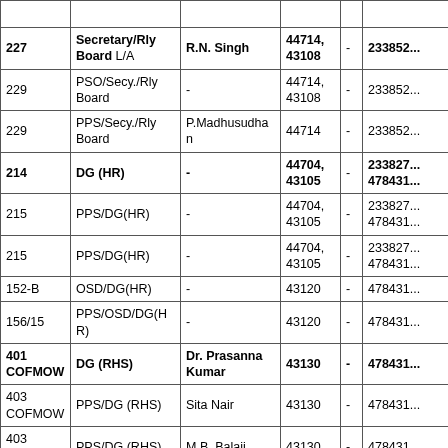| Room No. | Designation | Name | Ext. | - | Phone |
| --- | --- | --- | --- | --- | --- |
|  |  |  |  |  |  |
| 227 | Secretary/Rly Board L/A | R.N. Singh | 44714, 43108 | - | 233852... |
| 229 | PSO/Secy./Rly Board | - | 44714, 43108 | - | 233852... |
| 229 | PPS/Secy./Rly Board | P.Madhusudhan | 44714 | - | 233852... |
| 214 | DG (HR) | - | 44704, 43105 | - | 233827... 478431... |
| 215 | PPS/DG(HR) | - | 44704, 43105 | - | 233827... 478431... |
| 215 | PPS/DG(HR) | - | 44704, 43105 | - | 233827... 478431... |
| 152-B | OSD/DG(HR) | - | 43120 | - | 478431... |
| 156/15 | PPS/OSD/DG(HR) | - | 43120 | - | 478431... |
| 401 COFMOW | DG (RHS) | Dr. Prasanna Kumar | 43130 | - | 478431... |
| 403 COFMOW | PPS/DG (RHS) | Sita Nair | 43130 | - | 478431... |
| 403 COFMOW | PPS/DG (RHS) | M.B. Balaji | 43130 | - | 478431... |
| 440 | DG (RPF) | Sanjay Chander | 41511 | - | 233822... 230415... |
| 440... | SPS/DG (RPF) | Balja Singh... | 41511 | - | 233822... |